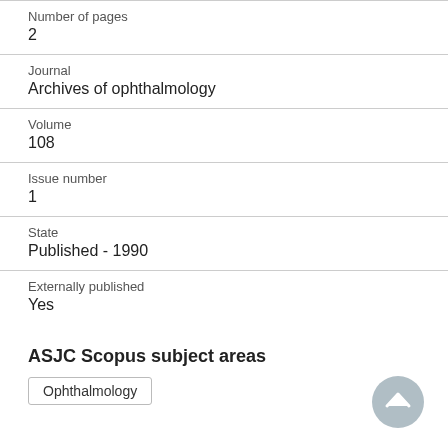Number of pages
2
Journal
Archives of ophthalmology
Volume
108
Issue number
1
State
Published - 1990
Externally published
Yes
ASJC Scopus subject areas
Ophthalmology